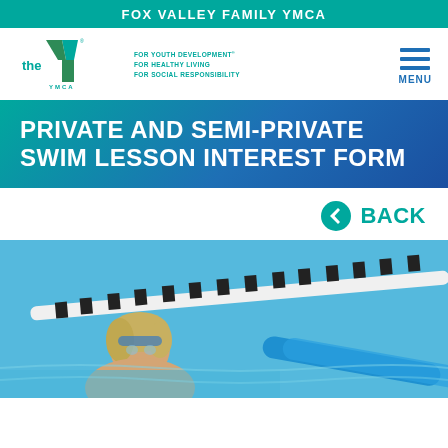FOX VALLEY FAMILY YMCA
[Figure (logo): YMCA logo with Y symbol and taglines: FOR YOUTH DEVELOPMENT, FOR HEALTHY LIVING, FOR SOCIAL RESPONSIBILITY, with MENU hamburger icon]
PRIVATE AND SEMI-PRIVATE SWIM LESSON INTEREST FORM
← BACK
[Figure (photo): Photo of a person swimming in a pool, visible from shoulders up, holding a blue pool noodle, with lane dividers visible in the background]